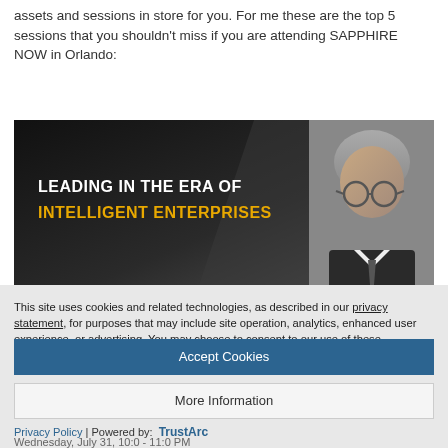assets and sessions in store for you. For me these are the top 5 sessions that you shouldn't miss if you are attending SAPPHIRE NOW in Orlando:
[Figure (photo): Dark banner image with text 'LEADING IN THE ERA OF INTELLIGENT ENTERPRISES' in white and gold, with a portrait of a man wearing glasses on the right side.]
This site uses cookies and related technologies, as described in our privacy statement, for purposes that may include site operation, analytics, enhanced user experience, or advertising. You may choose to consent to our use of these technologies, or manage your own preferences.
Accept Cookies
More Information
Privacy Policy | Powered by: TrustArc
Wednesday, July 31, 10:0 - 11:0 PM